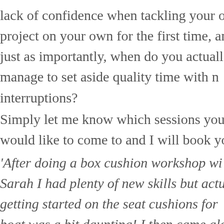lack of confidence when tackling your own project on your own for the first time, and just as importantly, when do you actually manage to set aside quality time with no interruptions?
Simply let me know which sessions you would like to come to and I will book yo
'After doing a box cushion workshop with Sarah I had plenty of new skills but actually getting started on the seat cushions for my boat was a bit daunting! I then came along to a couple of Sewing Café Sewing Sessions which were so helpful – just be able to run through measurements and